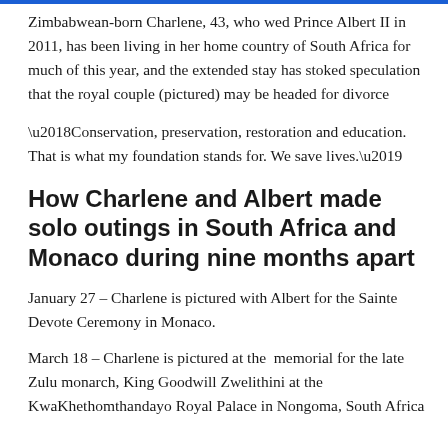Zimbabwean-born Charlene, 43, who wed Prince Albert II in 2011, has been living in her home country of South Africa for much of this year, and the extended stay has stoked speculation that the royal couple (pictured) may be headed for divorce
‘Conservation, preservation, restoration and education. That is what my foundation stands for. We save lives.’
How Charlene and Albert made solo outings in South Africa and Monaco during nine months apart
January 27 – Charlene is pictured with Albert for the Sainte Devote Ceremony in Monaco.
March 18 – Charlene is pictured at the memorial for the late Zulu monarch, King Goodwill Zwelithini at the KwaKhethomthandayo Royal Palace in Nongoma, South Africa